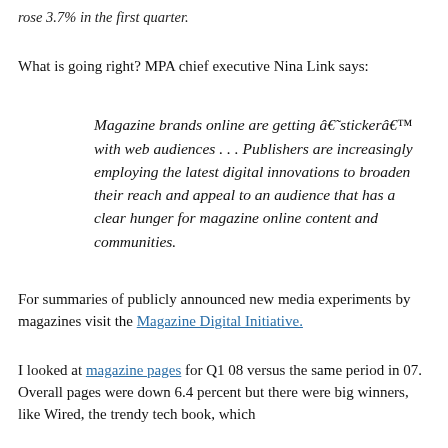rose 3.7% in the first quarter.
What is going right? MPA chief executive Nina Link says:
Magazine brands online are getting â€˜stickerâ€™ with web audiences . . . Publishers are increasingly employing the latest digital innovations to broaden their reach and appeal to an audience that has a clear hunger for magazine online content and communities.
For summaries of publicly announced new media experiments by magazines visit the Magazine Digital Initiative.
I looked at magazine pages for Q1 08 versus the same period in 07. Overall pages were down 6.4 percent but there were big winners, like Wired, the trendy tech book, which